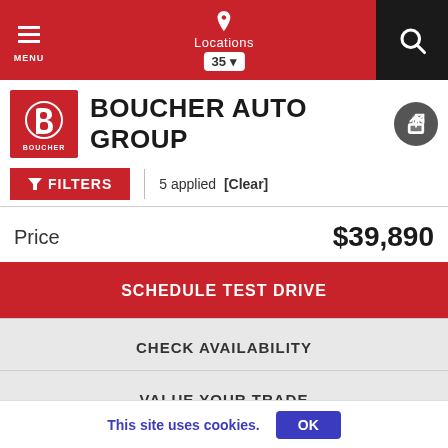MENU | Locations 35 | Search
BOUCHER AUTO GROUP
FILTERS | 5 applied [Clear]
Price $39,890
SCHEDULE TEST DRIVE
CHECK AVAILABILITY
VALUE YOUR TRADE
This site uses cookies. OK